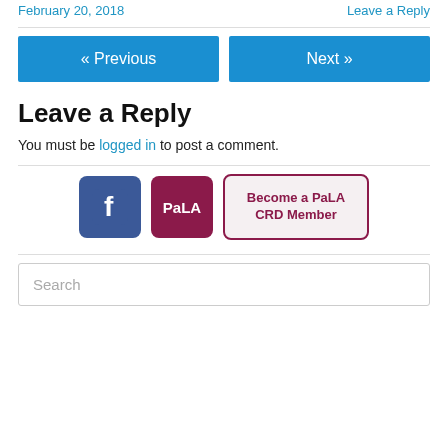February 20, 2018   Leave a Reply
« Previous   Next »
Leave a Reply
You must be logged in to post a comment.
[Figure (logo): Facebook logo, PaLA logo, Become a PaLA CRD Member button]
Search